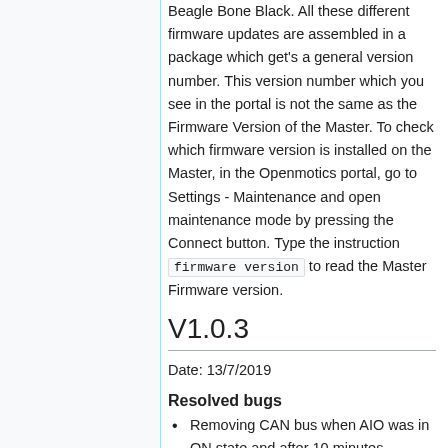Beagle Bone Black. All these different firmware updates are assembled in a package which get's a general version number. This version number which you see in the portal is not the same as the Firmware Version of the Master. To check which firmware version is installed on the Master, in the Openmotics portal, go to Settings - Maintenance and open maintenance mode by pressing the Connect button. Type the instruction firmware version to read the Master Firmware version.
V1.0.3
Date: 13/7/2019
Resolved bugs
Removing CAN bus when AIO was in ON state and after 10 minutes...